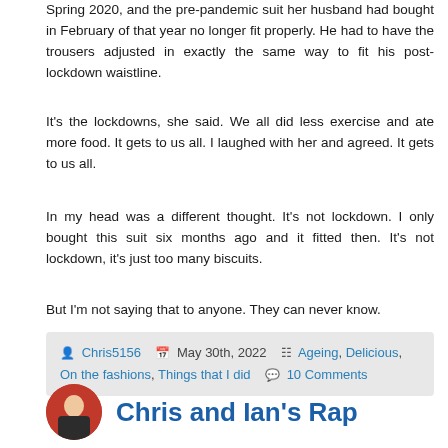Spring 2020, and the pre-pandemic suit her husband had bought in February of that year no longer fit properly. He had to have the trousers adjusted in exactly the same way to fit his post-lockdown waistline.
It's the lockdowns, she said. We all did less exercise and ate more food. It gets to us all. I laughed with her and agreed. It gets to us all.
In my head was a different thought. It's not lockdown. I only bought this suit six months ago and it fitted then. It's not lockdown, it's just too many biscuits.
But I'm not saying that to anyone. They can never know.
Chris5156  May 30th, 2022  Ageing, Delicious, On the fashions, Things that I did  10 Comments
Chris and Ian's Rap